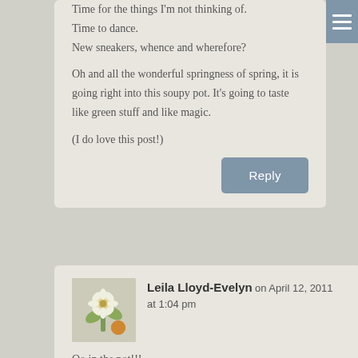Time for the things I'm not thinking of.
Time to dance.
New sneakers, whence and wherefore?

Oh and all the wonderful springness of spring, it is going right into this soupy pot. It's going to taste like green stuff and like magic.

(I do love this post!)
Reply
Leila Lloyd-Evelyn on April 12, 2011 at 1:04 pm
Oo in the pot!!!